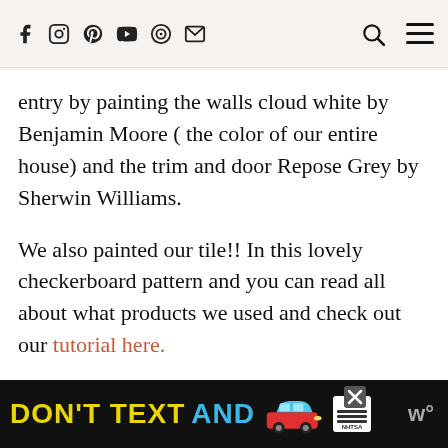[Navigation bar with social icons: Facebook, Instagram, Pinterest, YouTube, and other icons, plus search and menu icons]
entry by painting the walls cloud white by Benjamin Moore ( the color of our entire house) and the trim and door Repose Grey by Sherwin Williams.
We also painted our tile!! In this lovely checkerboard pattern and you can read all about what products we used and check out our tutorial here.
[Figure (infographic): Advertisement banner: DON'T TEXT AND [car emoji] with ad badge and NHTSA logo on black background]